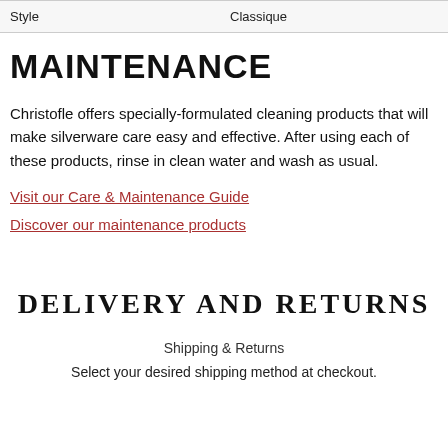| Style | Classique |
| --- | --- |
MAINTENANCE
Christofle offers specially-formulated cleaning products that will make silverware care easy and effective. After using each of these products, rinse in clean water and wash as usual.
Visit our Care & Maintenance Guide
Discover our maintenance products
DELIVERY AND RETURNS
Shipping & Returns
Select your desired shipping method at checkout.